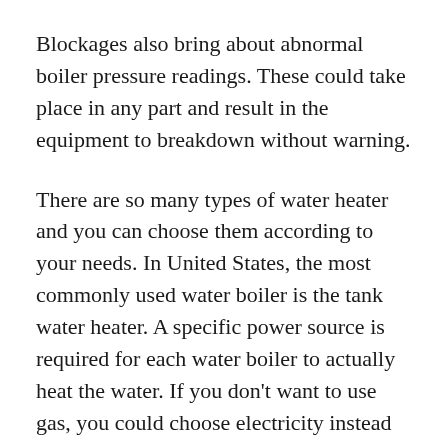Blockages also bring about abnormal boiler pressure readings. These could take place in any part and result in the equipment to breakdown without warning.
There are so many types of water heater and you can choose them according to your needs. In United States, the most commonly used water boiler is the tank water heater. A specific power source is required for each water boiler to actually heat the water. If you don't want to use gas, you could choose electricity instead Lately, though, solar-powered water boilers have been introduced. There are so many other Water boiler reviews that are considered to be tank-less. These are also more popular in today's world. That is